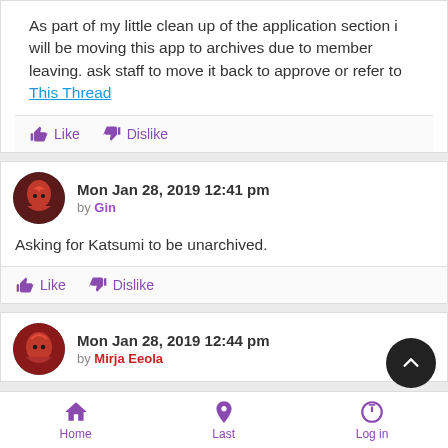As part of my little clean up of the application section i will be moving this app to archives due to member leaving. ask staff to move it back to approve or refer to This Thread
Like  Dislike
Mon Jan 28, 2019 12:41 pm by Gin
Asking for Katsumi to be unarchived.
Like  Dislike
Mon Jan 28, 2019 12:44 pm by Mirja Eeola
[Figure (infographic): Bottom navigation bar with Home, Last, Log in icons]
[Figure (infographic): Scroll-to-top FAB button (dark circle with up chevron)]